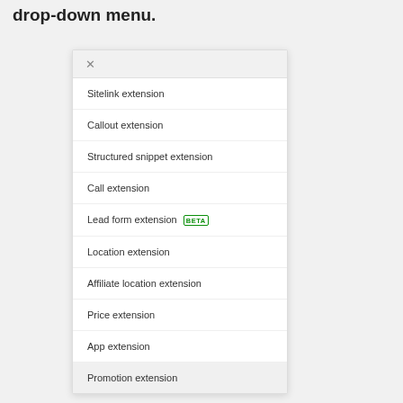drop-down menu.
[Figure (screenshot): A dropdown menu showing extension options: Sitelink extension, Callout extension, Structured snippet extension, Call extension, Lead form extension (BETA), Location extension, Affiliate location extension, Price extension, App extension, Promotion extension (highlighted)]